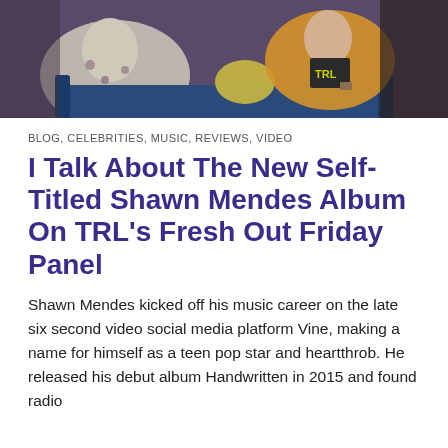[Figure (photo): Two people sitting on a blue couch; one wearing a floral shirt, another in an orange jacket with a TRL logo shirt visible in the background]
BLOG, CELEBRITIES, MUSIC, REVIEWS, VIDEO
I Talk About The New Self-Titled Shawn Mendes Album On TRL's Fresh Out Friday Panel
Shawn Mendes kicked off his music career on the late six second video social media platform Vine, making a name for himself as a teen pop star and heartthrob. He released his debut album Handwritten in 2015 and found radio
Privacy & Cookies: This site uses cookies. By continuing to use this website, you agree to their use.
To find out more, including how to control cookies, see here: Cookie Policy
Close and accept